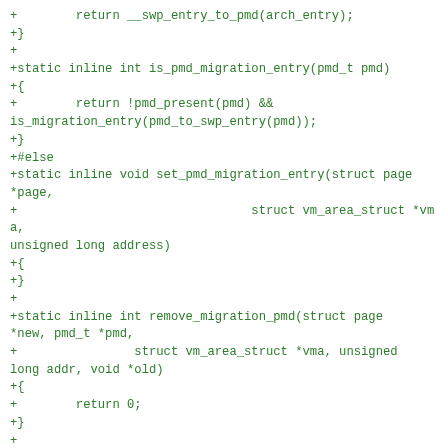+        return __swp_entry_to_pmd(arch_entry);
+}
+
+static inline int is_pmd_migration_entry(pmd_t pmd)
+{
+        return !pmd_present(pmd) &&
is_migration_entry(pmd_to_swp_entry(pmd));
+}
+#else
+static inline void set_pmd_migration_entry(struct page
*page,
+                                struct vm_area_struct *vma,
unsigned long address)
+{
+}
+
+static inline int remove_migration_pmd(struct page
*new, pmd_t *pmd,
+                struct vm_area_struct *vma, unsigned
long addr, void *old)
+{
+        return 0;
+}
+
+static inline void pmd_migration_entry_wait(struct
mm_struct *m, pmd_t *p) { }
+
+static inline swp_entry_t pmd_to_swp_entry(pmd_t pmd)
+{
+        return swp_entry(0, 0);